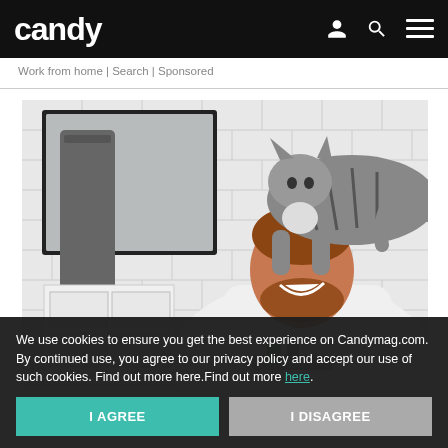candy
Work from home | Search | Sponsored
[Figure (photo): A smiling bearded man in a white t-shirt at a bathroom sink with white subway tile walls, looking up at a tabby cat perched on his head/shoulder. A mirror and grey towel are visible in the background.]
We use cookies to ensure you get the best experience on Candymag.com. By continued use, you agree to our privacy policy and accept our use of such cookies. Find out more here.Find out more here.
I AGREE
I DISAGREE